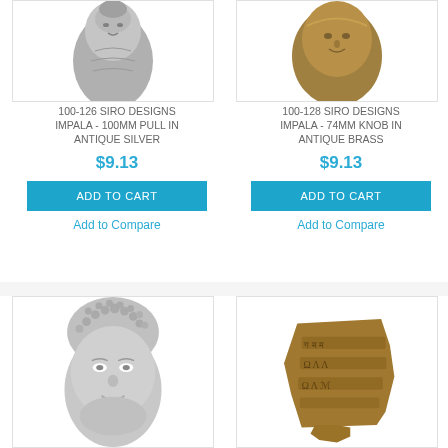[Figure (photo): Silver Buddha/impala head hardware pull - antique silver finish, top portion shown]
100-126 SIRO DESIGNS IMPALA - 100MM PULL IN ANTIQUE SILVER
$9.13
ADD TO CART
Add to Compare
[Figure (photo): Bronze/brass face hardware knob - antique brass finish, top portion shown]
100-128 SIRO DESIGNS IMPALA - 74MM KNOB IN ANTIQUE BRASS
$9.13
ADD TO CART
Add to Compare
[Figure (photo): Silver Buddha head hardware knob with detailed beaded hair, antique silver finish]
[Figure (photo): Antique brass rectangular knob with ancient script/Indus Valley writing design]